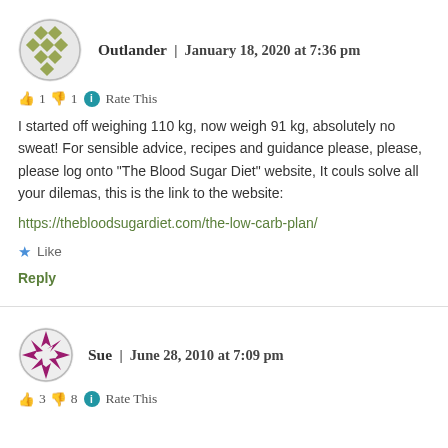Outlander | January 18, 2020 at 7:36 pm
👍 1 👎 1 ℹ Rate This
I started off weighing 110 kg, now weigh 91 kg, absolutely no sweat! For sensible advice, recipes and guidance please, please, please log onto "The Blood Sugar Diet" website, It couls solve all your dilemas, this is the link to the website:
https://thebloodsugardiet.com/the-low-carb-plan/
Like
Reply
Sue | June 28, 2010 at 7:09 pm
👍 3 👎 8 ℹ Rate This